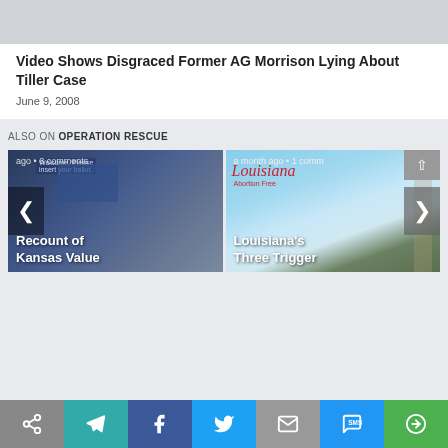[Figure (photo): Gray placeholder image at top of article card]
Video Shows Disgraced Former AG Morrison Lying About Tiller Case
June 9, 2008
ALSO ON OPERATION RESCUE
[Figure (photo): Voting machine image with text overlay: 'ago • 8 comments', 'Recount of Kansas Value']
[Figure (photo): Louisiana Abortion Free sign with tower in background, text overlay: 'a month ago • 1 comm', 'Louisiana's Three Trigger']
[Figure (infographic): Social share bar at bottom with icons: share, telegram, facebook, twitter, email, SMS, more]